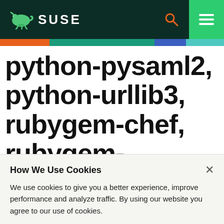SUSE
python-pysaml2, python-urllib3, rubygem-chef, rubygem-easy_diff,
How We Use Cookies
We use cookies to give you a better experience, improve performance and analyze traffic. By using our website you agree to our use of cookies.
View and change cookie preferences ›